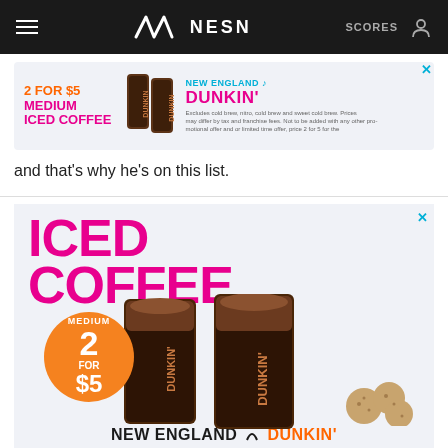NESN — SCORES
[Figure (illustration): Dunkin' advertisement banner: '2 FOR $5 MEDIUM ICED COFFEE' with two iced coffee cups, NEW ENGLAND / DUNKIN' branding]
and that's why he's on this list.
[Figure (illustration): Large Dunkin' advertisement: 'ICED COFFEE' in magenta, two large iced coffee cups with orange circle badge '2 FOR $5 MEDIUM', cookie/snack items, 'NEW ENGLAND / DUNKIN'' at bottom]